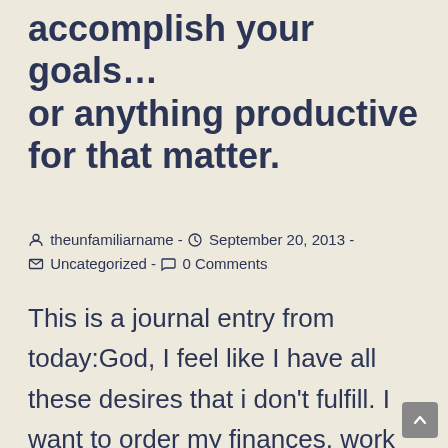accomplish your goals… or anything productive for that matter.
theunfamiliarname - September 20, 2013 - Uncategorized - 0 Comments
This is a journal entry from today:God, I feel like I have all these desires that i don't fulfill. I want to order my finances, work out and eat healthy...